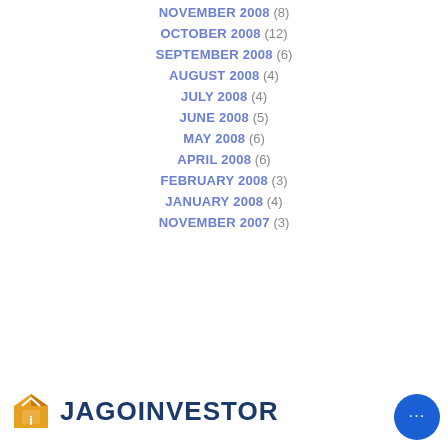NOVEMBER 2008 (8)
OCTOBER 2008 (12)
SEPTEMBER 2008 (6)
AUGUST 2008 (4)
JULY 2008 (4)
JUNE 2008 (5)
MAY 2008 (6)
APRIL 2008 (6)
FEBRUARY 2008 (3)
JANUARY 2008 (4)
NOVEMBER 2007 (3)
[Figure (logo): Jagoinvestor logo with house/shield icon and bold text JAGOINVESTOR]